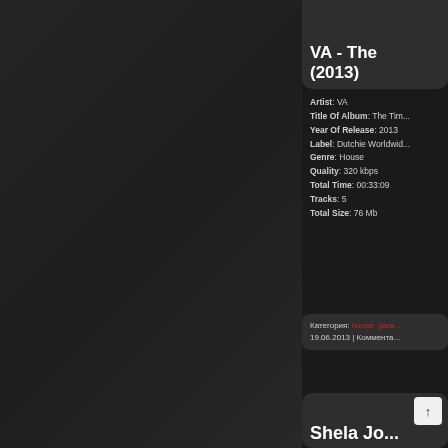[Figure (photo): Dark textured background panel on the left side of the page]
VA - The
(2013)
Artist: VA
Title Of Album: The Tim...
Year Of Release: 2013
Label: Dutchie Worldwid...
Genre: House
Quality: 320 kbps
Total Time: 00:33:09
Tracks: 5
Total Size: 76 Mb
Категория: house, gara...
19.06.2013 | Коммента...
Shela Jo...